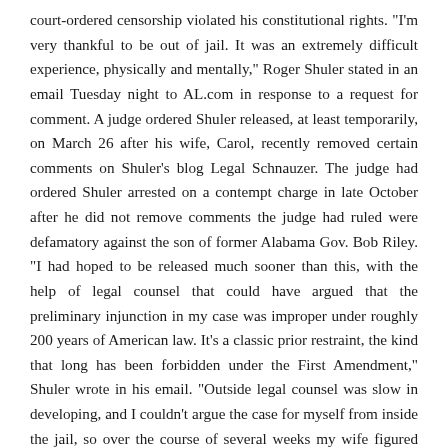court-ordered censorship violated his constitutional rights. "I'm very thankful to be out of jail. It was an extremely difficult experience, physically and mentally," Roger Shuler stated in an email Tuesday night to AL.com in response to a request for comment. A judge ordered Shuler released, at least temporarily, on March 26 after his wife, Carol, recently removed certain comments on Shuler's blog Legal Schnauzer. The judge had ordered Shuler arrested on a contempt charge in late October after he did not remove comments the judge had ruled were defamatory against the son of former Alabama Gov. Bob Riley. "I had hoped to be released much sooner than this, with the help of legal counsel that could have argued that the preliminary injunction in my case was improper under roughly 200 years of American law. It's a classic prior restraint, the kind that long has been forbidden under the First Amendment," Shuler wrote in his email. "Outside legal counsel was slow in developing, and I couldn't argue the case for myself from inside the jail, so over the course of several weeks my wife figured out how to remove certain items as ordered by the court and gained my release. I see her as a hero in this, operating under very stressful conditions," Shuler wrote.